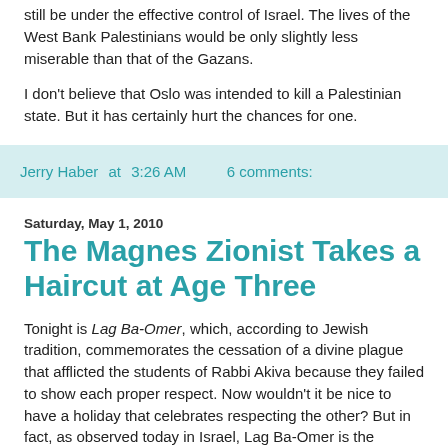still be under the effective control of Israel. The lives of the West Bank Palestinians would be only slightly less miserable than that of the Gazans.
I don't believe that Oslo was intended to kill a Palestinian state. But it has certainly hurt the chances for one.
Jerry Haber at 3:26 AM     6 comments:
Saturday, May 1, 2010
The Magnes Zionist Takes a Haircut at Age Three
Tonight is Lag Ba-Omer, which, according to Jewish tradition, commemorates the cessation of a divine plague that afflicted the students of Rabbi Akiva because they failed to show each proper respect. Now wouldn't it be nice to have a holiday that celebrates respecting the other? But in fact, as observed today in Israel, Lag Ba-Omer is the holiday of air...